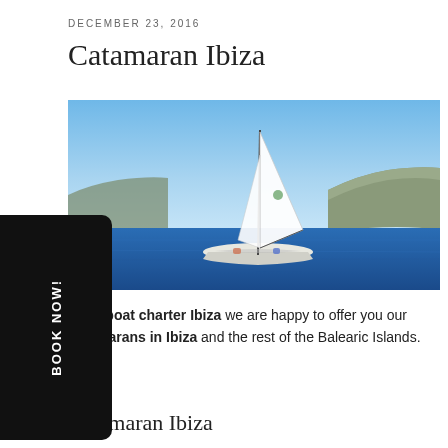DECEMBER 23, 2016
Catamaran Ibiza
[Figure (photo): A white catamaran sailboat sailing on blue sea with rocky coastline in the background under a clear blue sky.]
From boat charter Ibiza we are happy to offer you our catamarans in Ibiza and the rest of the Balearic Islands.
Catamaran Ibiza